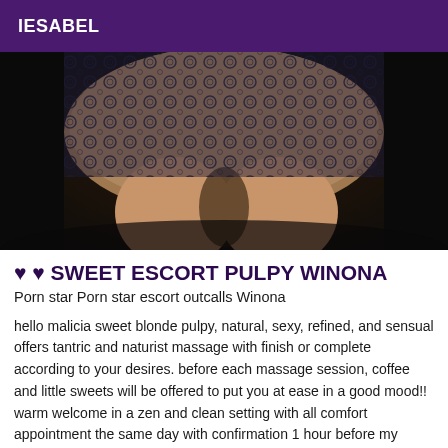IESABEL
[Figure (photo): Close-up photo of a person wearing a black lace dress, showing legs and lower body against a dark background.]
♥ ♥ SWEET ESCORT PULPY WINONA
Porn star Porn star escort outcalls Winona
hello malicia sweet blonde pulpy, natural, sexy, refined, and sensual offers tantric and naturist massage with finish or complete according to your desires. before each massage session, coffee and little sweets will be offered to put you at ease in a good mood!! warm welcome in a zen and clean setting with all comfort appointment the same day with confirmation 1 hour before my photos are